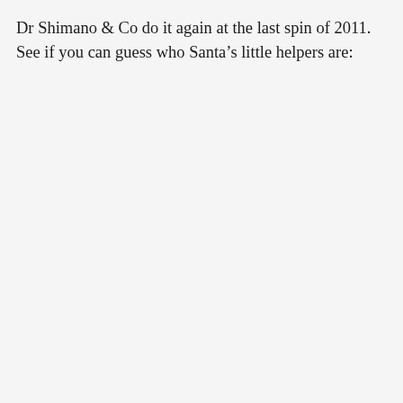Dr Shimano & Co do it again at the last spin of 2011.  See if you can guess who Santa's little helpers are: